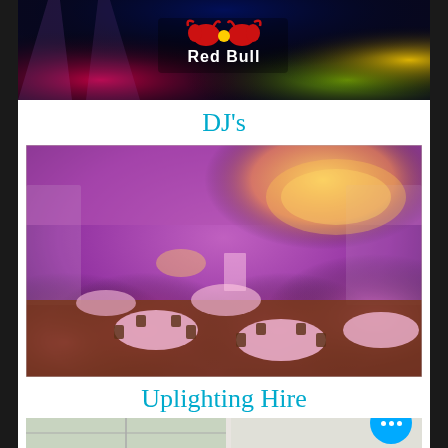[Figure (photo): Red Bull branded event photo with colorful stage lighting — pink, red, green, and yellow lights against a dark background]
DJ's
[Figure (photo): Elegant ballroom set up for an event with pink/magenta uplighting, round tables with white linens, chandelier ceiling decorations]
Uplighting Hire
[Figure (photo): White ornate venue interior with large windows and decorative panels, partially visible]